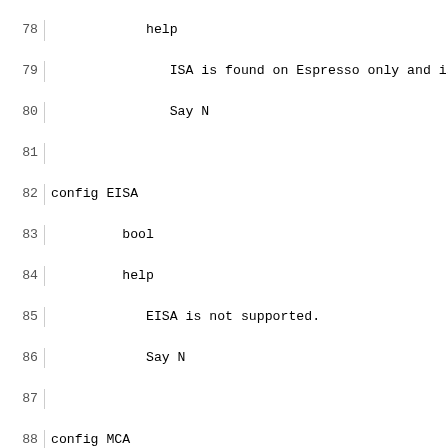Source code listing lines 78-107 of a Linux kernel Kconfig file showing config entries for EISA, MCA, and PCMCIA